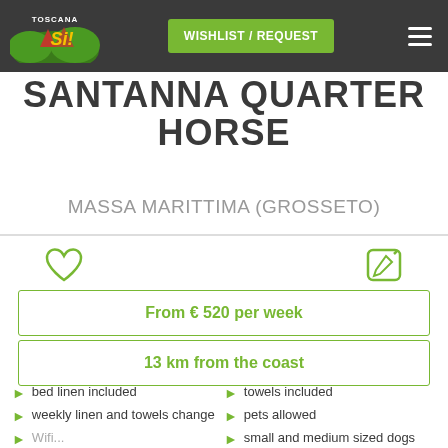WISHLIST / REQUEST
SANTANNA QUARTER HORSE
MASSA MARITTIMA (GROSSETO)
From € 520 per week
13 km from the coast
bed linen included
towels included
weekly linen and towels change
pets allowed
small and medium sized dogs allowed